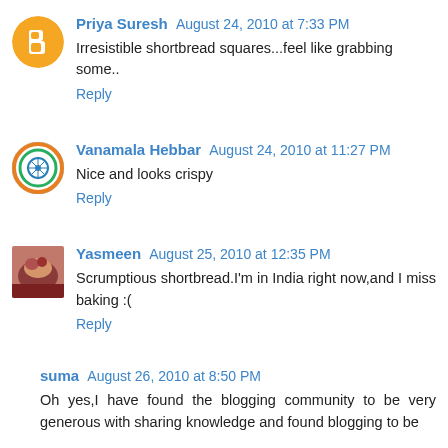Priya Suresh August 24, 2010 at 7:33 PM
Irresistible shortbread squares...feel like grabbing some..
Reply
Vanamala Hebbar August 24, 2010 at 11:27 PM
Nice and looks crispy
Reply
Yasmeen August 25, 2010 at 12:35 PM
Scrumptious shortbread.I'm in India right now,and I miss baking :(
Reply
suma August 26, 2010 at 8:50 PM
Oh yes,I have found the blogging community to be very generous with sharing knowledge and found blogging to be